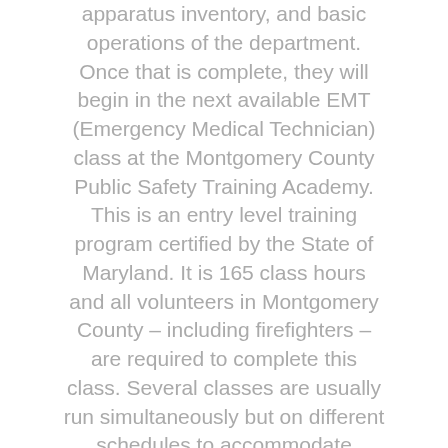apparatus inventory, and basic operations of the department. Once that is complete, they will begin in the next available EMT (Emergency Medical Technician) class at the Montgomery County Public Safety Training Academy. This is an entry level training program certified by the State of Maryland. It is 165 class hours and all volunteers in Montgomery County – including firefighters – are required to complete this class. Several classes are usually run simultaneously but on different schedules to accommodate students' needs; they usually run 3 days a week for 4-5 months (2 weeknights and one weekend day).
While in EMT Class, probationary members will also be assigned to a weekly duty shift, and are required to attend all company meetings, which